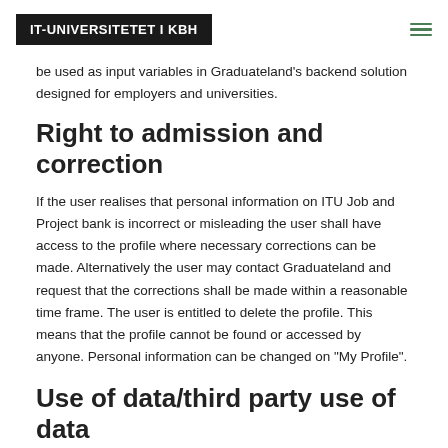IT-UNIVERSITETET I KBH
be used as input variables in Graduateland's backend solution designed for employers and universities.
Right to admission and correction
If the user realises that personal information on ITU Job and Project bank is incorrect or misleading the user shall have access to the profile where necessary corrections can be made. Alternatively the user may contact Graduateland and request that the corrections shall be made within a reasonable time frame. The user is entitled to delete the profile. This means that the profile cannot be found or accessed by anyone. Personal information can be changed on "My Profile".
Use of data/third party use of data
Graduateland shall be entitled to use of an external company to